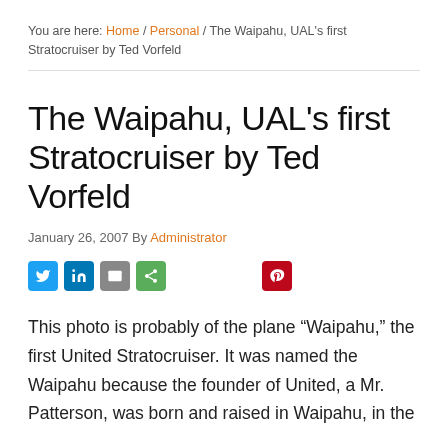You are here: Home / Personal / The Waipahu, UAL's first Stratocruiser by Ted Vorfeld
The Waipahu, UAL's first Stratocruiser by Ted Vorfeld
January 26, 2007 By Administrator
[Figure (infographic): Social sharing buttons: Twitter, LinkedIn, Email, Share, Pinterest]
This photo is probably of the plane “Waipahu,” the first United Stratocruiser. It was named the Waipahu because the founder of United, a Mr. Patterson, was born and raised in Waipahu, in the